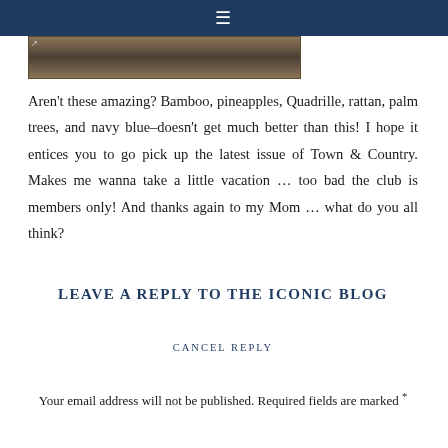≡
[Figure (photo): Horizontal strip image of what appears to be bamboo or rattan material in brown/tan tones]
Aren't these amazing? Bamboo, pineapples, Quadrille, rattan, palm trees, and navy blue–doesn't get much better than this! I hope it entices you to go pick up the latest issue of Town & Country. Makes me wanna take a little vacation … too bad the club is members only! And thanks again to my Mom … what do you all think?
LEAVE A REPLY TO THE ICONIC BLOG
CANCEL REPLY
Your email address will not be published. Required fields are marked *